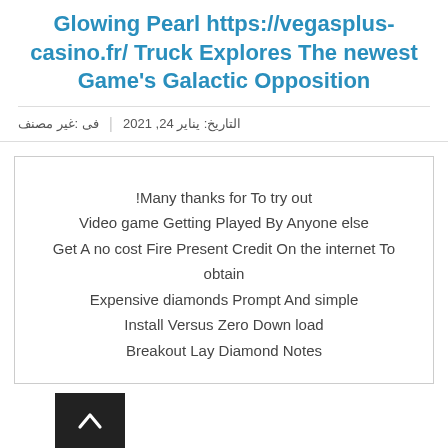Glowing Pearl https://vegasplus-casino.fr/ Truck Explores The newest Game's Galactic Opposition
التاريخ: يناير 24, 2021 | فى :غير مصنف
Many thanks for To try out!
Video game Getting Played By Anyone else
Get A no cost Fire Present Credit On the internet To obtain
Expensive diamonds Prompt And simple
Install Versus Zero Down load
Breakout Lay Diamond Notes